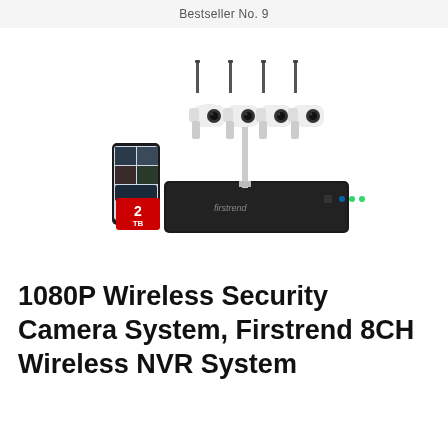Bestseller No. 9
[Figure (photo): Product photo of a wireless security camera system showing four white bullet cameras mounted on a stand with antennas, a black NVR recorder unit, a smartphone, and a red 2TB hard drive label. Brand: Firstrend.]
1080P Wireless Security Camera System, Firstrend 8CH Wireless NVR System